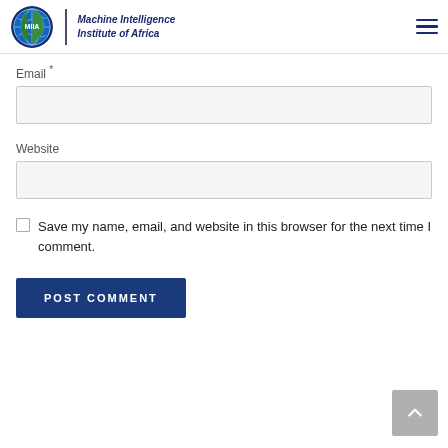Machine Intelligence Institute of Africa
Email *
Website
Save my name, email, and website in this browser for the next time I comment.
POST COMMENT